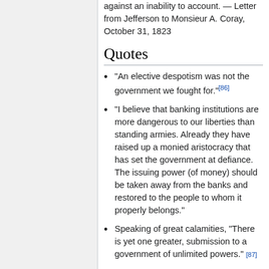against an inability to account. — Letter from Jefferson to Monsieur A. Coray, October 31, 1823
Quotes
"An elective despotism was not the government we fought for."[86]
"I believe that banking institutions are more dangerous to our liberties than standing armies. Already they have raised up a monied aristocracy that has set the government at defiance. The issuing power (of money) should be taken away from the banks and restored to the people to whom it properly belongs."
Speaking of great calamities, "There is yet one greater, submission to a government of unlimited powers." [87]
"That government is best which governs the least, because its people